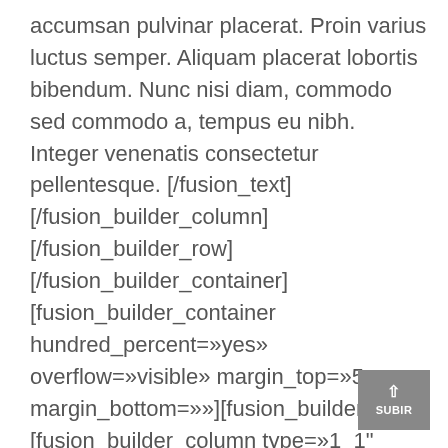accumsan pulvinar placerat. Proin varius luctus semper. Aliquam placerat lobortis bibendum. Nunc nisi diam, commodo sed commodo a, tempus eu nibh. Integer venenatis consectetur pellentesque. [/fusion_text][/fusion_builder_column][/fusion_builder_row][/fusion_builder_container][fusion_builder_container hundred_percent=»yes» overflow=»visible» margin_top=»5px» margin_bottom=»»][fusion_builder_row][fusion_builder_column type=»1_1" layout=»1_1" background_position=»left top» background_color=»» border_size=»»